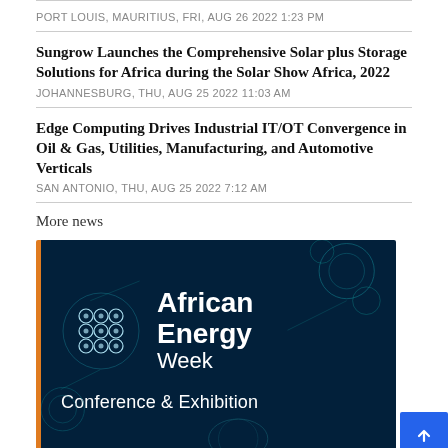PORT LOUIS, Mauritius, Fri, Aug 26 2022 1:23 PM
Sungrow Launches the Comprehensive Solar plus Storage Solutions for Africa during the Solar Show Africa, 2022
JOHANNESBURG, Thu, Aug 25 2022 11:03 AM
Edge Computing Drives Industrial IT/OT Convergence in Oil & Gas, Utilities, Manufacturing, and Automotive Verticals
SAN ANTONIO, Thu, Aug 25 2022 7:12 AM
More news
[Figure (advertisement): African Energy Week - Conference & Exhibition advertisement banner with dark blue background, orange left border, decorative circular tech/tribal pattern icons, and white text.]